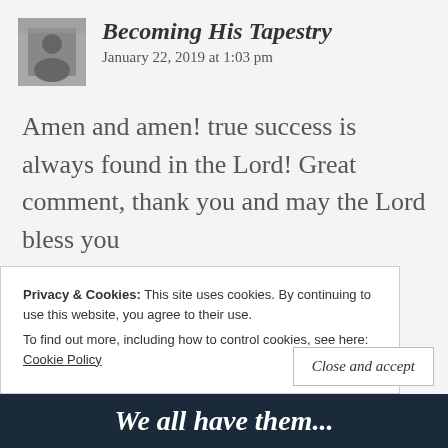Becoming His Tapestry
January 22, 2019 at 1:03 pm
Amen and amen! true success is always found in the Lord! Great comment, thank you and may the Lord bless you
Liked by 2 people
Reply
Privacy & Cookies: This site uses cookies. By continuing to use this website, you agree to their use.
To find out more, including how to control cookies, see here: Cookie Policy
Close and accept
We all have them...